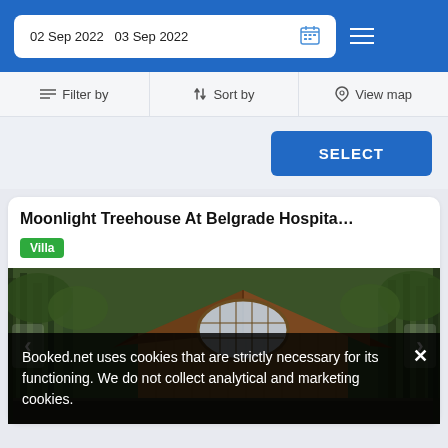02 Sep 2022  03 Sep 2022
Filter by  Sort by  View map
SELECT
Moonlight Treehouse At Belgrade Hospita…
Villa
[Figure (photo): Wooden treehouse cabin with arched window surrounded by tall trees in a forest setting]
Booked.net uses cookies that are strictly necessary for its functioning. We do not collect analytical and marketing cookies.